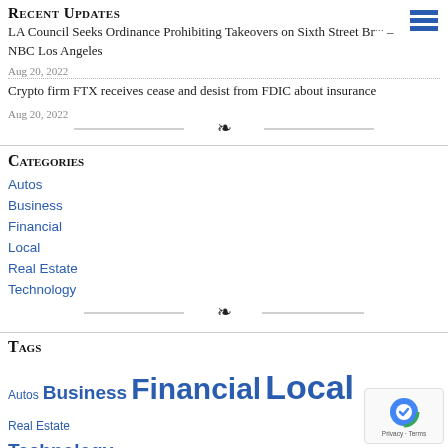Recent Updates
LA Council Seeks Ordinance Prohibiting Takeovers on Sixth Street Br… – NBC Los Angeles
Aug 20, 2022
Crypto firm FTX receives cease and desist from FDIC about insurance
Aug 20, 2022
Categories
Autos
Business
Financial
Local
Real Estate
Technology
Tags
Autos Business Financial Local Real Estate Technology